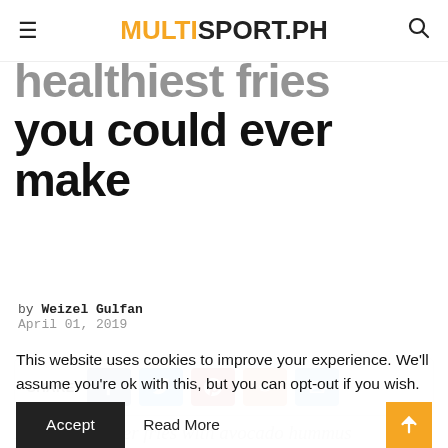MULTISPORT.PH
Healthiest fries you could ever make
by Weizel Gulfan
April 01, 2019
[Figure (infographic): Share bar with Facebook, Twitter, Pinterest, Reddit, and Email buttons]
Pair the sweeter fries with avocado hummus
This website uses cookies to improve your experience. We'll assume you're ok with this, but you can opt-out if you wish.